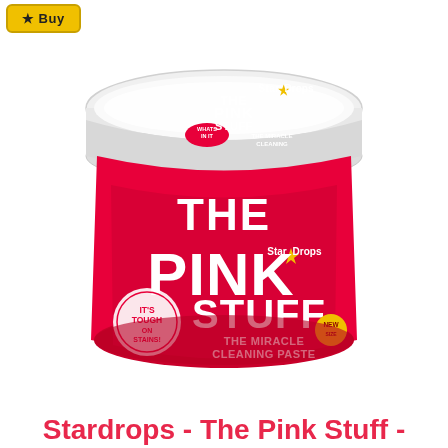[Figure (photo): A tub of Stardrops The Pink Stuff Miracle Cleaning Paste, pink cylindrical container with white lid, showing bold white text 'THE PINK STUFF' and 'THE MIRACLE CLEANING PASTE' on the label, with Star Drops logo and 'IT'S TOUGH ON STAINS' badge on the front]
Stardrops - The Pink Stuff -